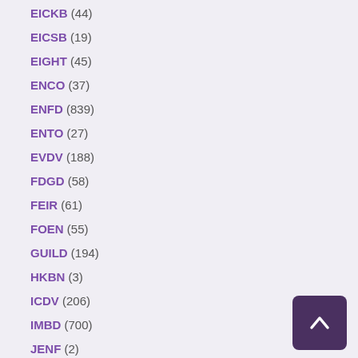EICKB (44)
EICSB (19)
EIGHT (45)
ENCO (37)
ENFD (839)
ENTO (27)
EVDV (188)
FDGD (58)
FEIR (61)
FOEN (55)
GUILD (194)
HKBN (3)
ICDV (206)
IMBD (700)
JENF (2)